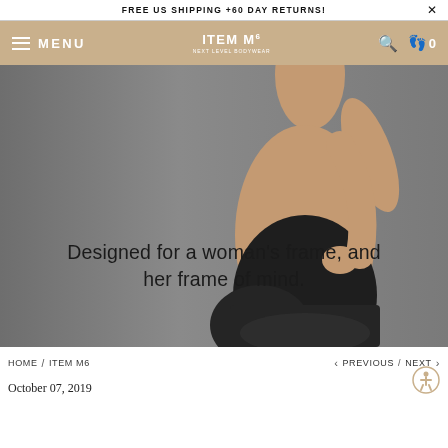FREE US SHIPPING +60 DAY RETURNS!
ITEM m6 NEXT LEVEL BODYWEAR — MENU
[Figure (photo): Woman in black shapewear bodysuit viewed from behind, gray background. Overlay text: 'Designed for a woman's frame, and her frame of mind.']
Designed for a woman's frame, and her frame of mind.
HOME / ITEM M6
< PREVIOUS / NEXT >
October 07, 2019